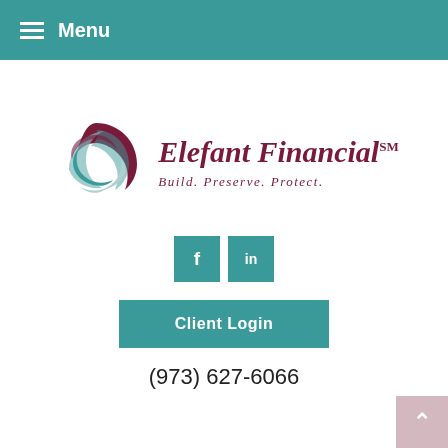Menu
[Figure (logo): Elefant Financial logo with swirl graphic in teal and maroon colors. Tagline: Build. Preserve. Protect.]
[Figure (infographic): Social media buttons: Facebook (f) and LinkedIn (in) in teal square icons]
Client Login
(973) 627-6066